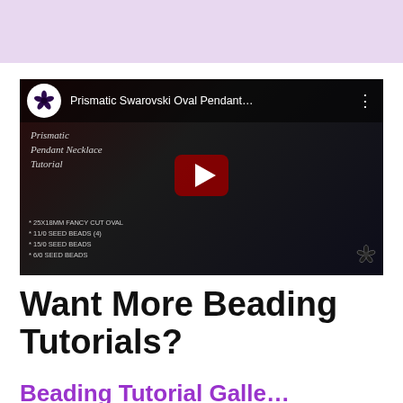[Figure (other): Light purple/lavender banner at top of page]
[Figure (screenshot): YouTube video thumbnail for 'Prismatic Swarovski Oval Pendant...' beading tutorial showing necklaces and a play button. Channel logo showing orchid flower. Overlay text reads 'Prismatic Pendant Necklace Tutorial' with supply list at bottom.]
Want More Beading Tutorials?
Beading Tutorial Galle...